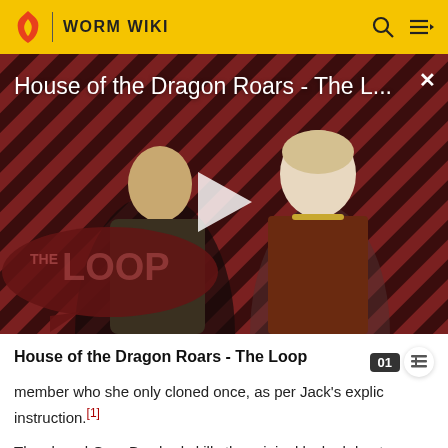WORM WIKI
[Figure (screenshot): Video thumbnail for 'House of the Dragon Roars - The L...' showing two characters against a red diagonal-striped background with THE LOOP logo and a play button in the center.]
House of the Dragon Roars - The Loop
member who she only cloned once, as per Jack's explicit instruction.[1]
The cloned Gray Boy had skills the original lacked due to